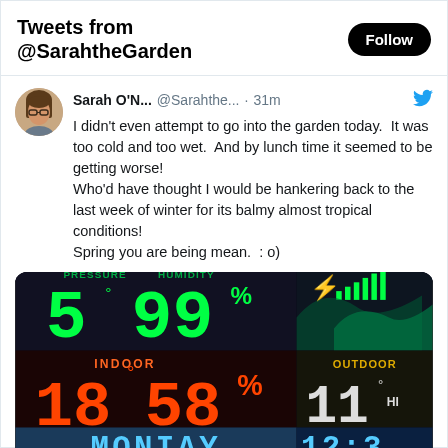Tweets from @SarahtheGarden
Sarah O'N...  @Sarahthe...  · 31m
I didn't even attempt to go into the garden today.  It was too cold and too wet.  And by lunch time it seemed to be getting worse!
Who'd have thought I would be hankering back to the last week of winter for its balmy almost tropical conditions!
Spring you are being mean.  : o)
[Figure (photo): Weather station display showing: PRESSURE 5° C, HUMIDITY 99%, lightning bolt icon, signal bars; INDOOR 18° 58%; OUTDOOR 11° HI; MONDAY; 12:3]